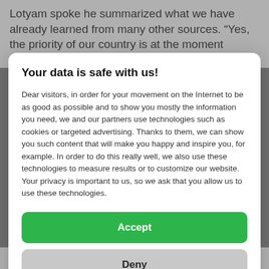Lotyam spoke he summarized what we have already learned from many other sources. “Yes, the priority of our country is at the moment education. We were in
Your data is safe with us!
Dear visitors, in order for your movement on the Internet to be as good as possible and to show you mostly the information you need, we and our partners use technologies such as cookies or targeted advertising. Thanks to them, we can show you such content that will make you happy and inspire you, for example. In order to do this really well, we also use these technologies to measure results or to customize our website. Your privacy is important to us, so we ask that you allow us to use these technologies.
Accept
Deny
Set
representatives of governmental institutions.